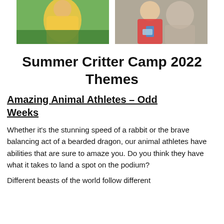[Figure (photo): Two photos side by side at the top: left photo shows a child in a yellow outfit outdoors near greenery; right photo shows a child in a red shirt with a lanyard badge sitting with someone.]
Summer Critter Camp 2022 Themes
Amazing Animal Athletes – Odd Weeks
Whether it's the stunning speed of a rabbit or the brave balancing act of a bearded dragon, our animal athletes have abilities that are sure to amaze you. Do you think they have what it takes to land a spot on the podium?
Different beasts of the world follow different...